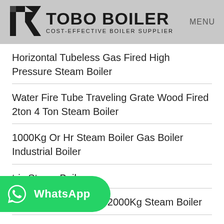TOBO BOILER — COST-EFFECTIVE BOILER SUPPLIER | MENU
Horizontal Tubeless Gas Fired High Pressure Steam Boiler
Water Fire Tube Traveling Grate Wood Fired 2ton 4 Ton Steam Boiler
1000Kg Or Hr Steam Boiler Gas Boiler Industrial Boiler
...tric Steam Boiler
Wns Series Wetback 2000Kg Steam Boiler